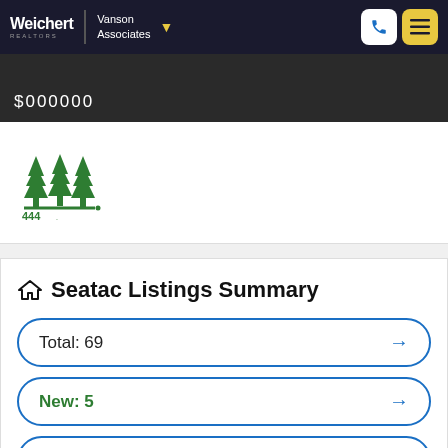Weichert Realtors | Vanson Associates
[Figure (logo): 444 Forests real estate logo with three green pine trees]
Seatac Listings Summary
Total: 69
New: 5
Reduced: 28